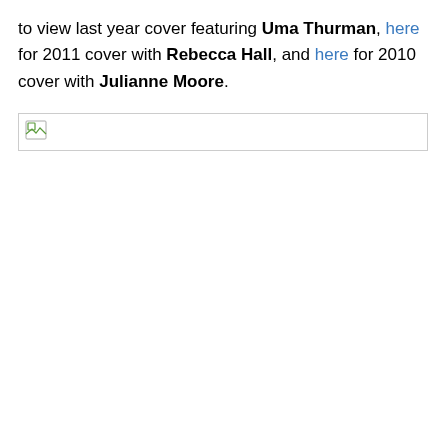to view last year cover featuring Uma Thurman, here for 2011 cover with Rebecca Hall, and here for 2010 cover with Julianne Moore.
[Figure (photo): Broken image placeholder (failed to load image)]